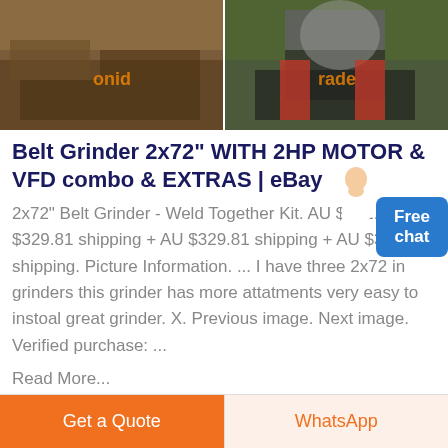[Figure (photo): Two photos side by side: left shows a dirt/earth excavation scene with an orange watermark overlay; right shows industrial crushing/grinding machinery in an outdoor setting with an orange watermark overlay.]
Belt Grinder 2x72" WITH 2HP MOTOR & VFD combo & EXTRAS | eBay
2x72" Belt Grinder - Weld Together Kit. AU $471.13 AU $329.81 shipping + AU $329.81 shipping + AU $329.81 shipping. Picture Information. ... I have three 2x72 in grinders this grinder has more attatments very easy to instoal great grinder. X. Previous image. Next image. Verified purchase: ...
Read More...